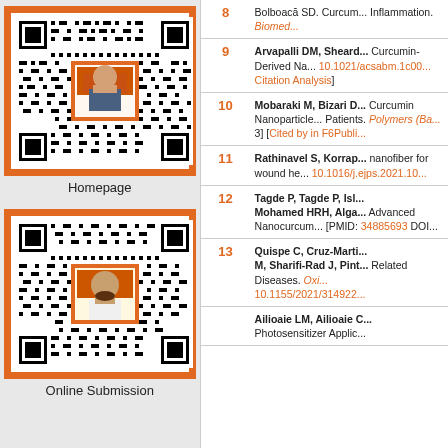[Figure (other): QR code with journal cover image for Homepage link, on orange background]
Homepage
[Figure (other): QR code with journal cover image for Online Submission link, on orange background]
Online Submission
| # | Reference |
| --- | --- |
| 8 | Bolboacă SD. Curcum... Inflammation. Biomed... |
| 9 | Arvapalli DM, Sheard... Curcumin-Derived Na... 10.1021/acsabm.1c00... Citation Analysis] |
| 10 | Mobaraki M, Bizari D... Curcumin Nanoparticle... Patients. Polymers (Ba... 3] [Cited by in F6Publi... |
| 11 | Rathinavel S, Korrap... nanofiber for wound he... 10.1016/j.ejps.2021.10... |
| 12 | Tagde P, Tagde P, Isl... Mohamed HRH, Alga... Advanced Nanocurcum... [PMID: 34885693 DOI... |
| 13 | Quispe C, Cruz-Marti... M, Sharifi-Rad J, Pint... Related Diseases. Oxi... 10.1155/2021/314922... |
| 14 | Ailioaie LM, Ailioaie C... Photosensitizer Applic... |